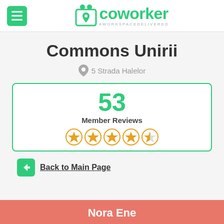coworker #WORKSPACEDELIVERED
Commons Unirii
5 Strada Halelor
[Figure (infographic): Review box showing 53 Member Reviews with 4.5 star rating (5 orange stars, last one half-filled)]
Back to Main Page
Nora Ene